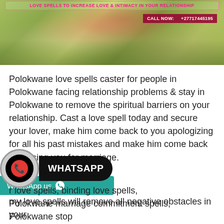[Figure (photo): Couple sitting in a flower field/meadow, woman in red dress, banner overlay with love spells text and call now phone number]
Polokwane love spells caster for people in Polokwane facing relationship problems & stay in Polokwane to remove the spiritual barriers on your relationship. Cast a love spell today and secure your lover, make him come back to you apologizing for all his past mistakes and make him come back proposing you for marriage.
my love spells will remove all negative obstacles in your relationship and make it perfect.
[Figure (infographic): WhatsApp floating button with black circle containing phone icon and WHATSAPP label]
[Figure (infographic): WhatsApp us teal button bar]
r love spells, binding love spells, Polokwane marriage commitment spells, Polokwane stop